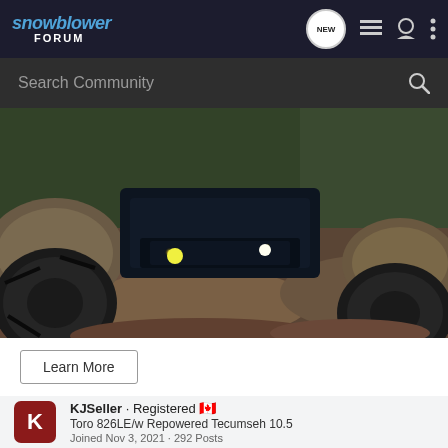snowblower FORUM
Search Community
[Figure (photo): ATV/UTV vehicle with large off-road tires navigating a rocky wooded trail, headlights illuminated]
Learn More
KJSeller · Registered 🇨🇦
Toro 826LE/w Repowered Tecumseh 10.5
Joined Nov 3, 2021 · 292 Posts